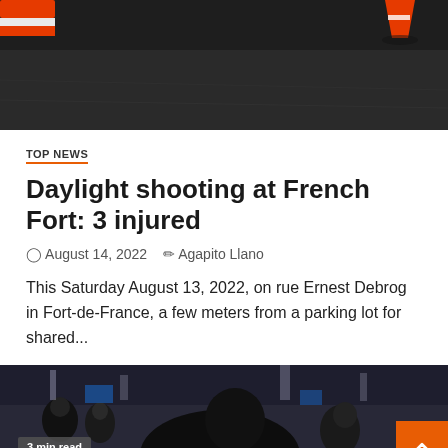[Figure (photo): Top photo showing dark pavement with orange traffic cones, partially cropped]
TOP NEWS
Daylight shooting at French Fort: 3 injured
August 14, 2022   Agapito Llano
This Saturday August 13, 2022, on rue Ernest Debrog in Fort-de-France, a few meters from a parking lot for shared...
[Figure (photo): Bottom photo showing crowd of people dressed in dark clothing in an urban setting, with a '3 min read' badge overlay]